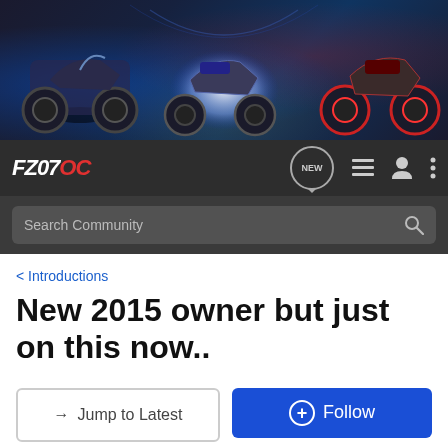[Figure (photo): Banner image showing multiple motorcycles (Yamaha FZ-07 style) in a dark, dramatic setting with blue and red lighting, tunnel/urban background]
[Figure (screenshot): FZ07OC forum navigation bar with logo, NEW button, menu icons on dark background, and Search Community search bar]
< Introductions
New 2015 owner but just on this now..
→ Jump to Latest
+ Follow
1 - 3 of 3 Posts